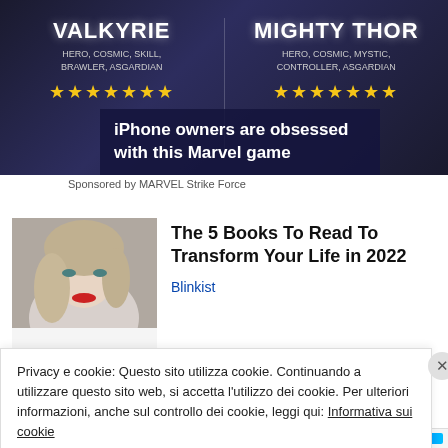[Figure (screenshot): Advertisement banner for MARVEL Strike Force game showing Valkyrie and Mighty Thor characters with hero stats and star ratings on dark space background]
iPhone owners are obsessed with this Marvel game
Sponsored by MARVEL Strike Force
[Figure (photo): Photo of a blonde woman with red lips, used as article thumbnail]
The 5 Books To Read To Transform Your Life in 2022
Blinkist
Privacy e cookie: Questo sito utilizza cookie. Continuando a utilizzare questo sito web, si accetta l'utilizzo dei cookie. Per ulteriori informazioni, anche sul controllo dei cookie, leggi qui: Informativa sui cookie
Chiudi e accetta